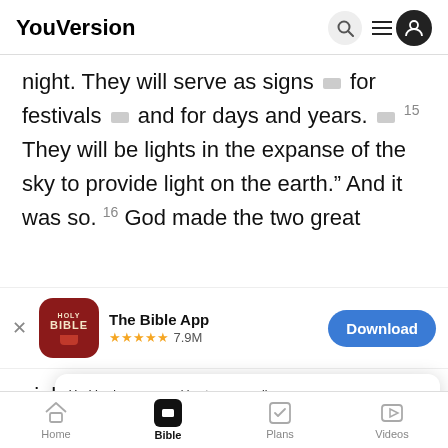YouVersion
night. They will serve as signs [note] for festivals [note] and for days and years. [note] 15 They will be lights in the expanse of the sky to provide light on the earth." And it was so. 16 God made the two great
[Figure (screenshot): The Bible App download banner: HOLY BIBLE app icon, title 'The Bible App', stars rating 7.9M, Download button]
night —
them in
18 ...
YouVersion uses cookies to personalize your experience. By using our website, you accept our use of cookies as described in our Privacy Policy.
Home  Bible  Plans  Videos